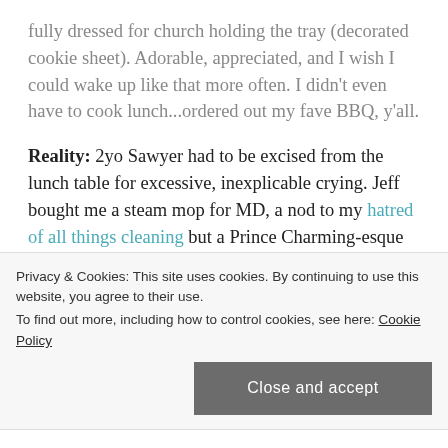fully dressed for church holding the tray (decorated cookie sheet). Adorable, appreciated, and I wish I could wake up like that more often. I didn't even have to cook lunch...ordered out my fave BBQ, y'all.
Reality: 2yo Sawyer had to be excised from the lunch table for excessive, inexplicable crying. Jeff bought me a steam mop for MD, a nod to my hatred of all things cleaning but a Prince Charming-esque valiant attempt to alleviate my hate/hate relationship with my white tile floor. 4yo Tate peed in his pants while on the couch but swore it was his
Privacy & Cookies: This site uses cookies. By continuing to use this website, you agree to their use.
To find out more, including how to control cookies, see here: Cookie Policy
Close and accept
Humor: The kids got in trouble with Jeff for saying